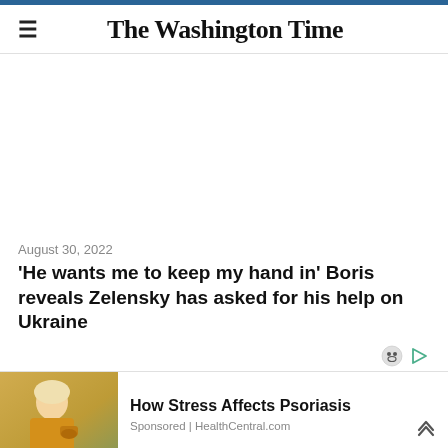The Washington Time
August 30, 2022
'He wants me to keep my hand in' Boris reveals Zelensky has asked for his help on Ukraine
[Figure (photo): Woman in yellow sweater looking at her arm, sponsored ad image for HealthCentral.com]
How Stress Affects Psoriasis
Sponsored | HealthCentral.com